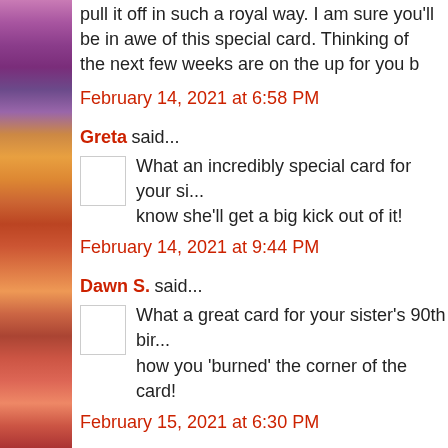pull it off in such a royal way. I am sure you'll be in awe of this special card. Thinking of you, the next few weeks are on the up for you b
February 14, 2021 at 6:58 PM
Greta said...
What an incredibly special card for your si... know she'll get a big kick out of it!
February 14, 2021 at 9:44 PM
Dawn S. said...
What a great card for your sister's 90th bir... how you 'burned' the corner of the card!
February 15, 2021 at 6:30 PM